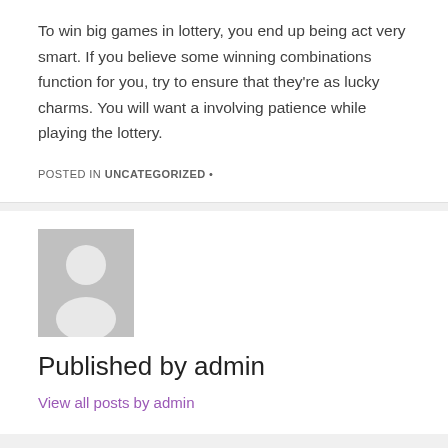To win big games in lottery, you end up being act very smart. If you believe some winning combinations function for you, try to ensure that they're as lucky charms. You will want a involving patience while playing the lottery.
POSTED IN UNCATEGORIZED •
[Figure (illustration): Generic user avatar placeholder image with grey background showing a silhouette of a person]
Published by admin
View all posts by admin